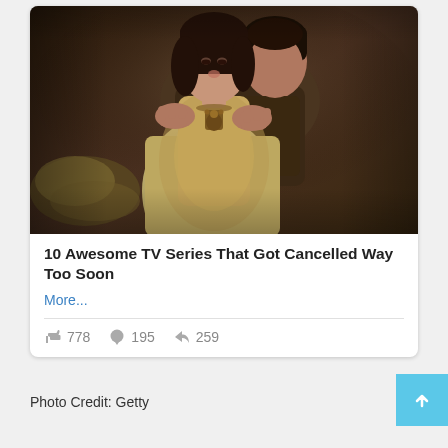[Figure (photo): A woman in medieval/period costume with a gold dress and necklace, a man behind her with hands on her shoulders, dark moody interior setting.]
10 Awesome TV Series That Got Cancelled Way Too Soon
More...
778  195  259
Photo Credit: Getty